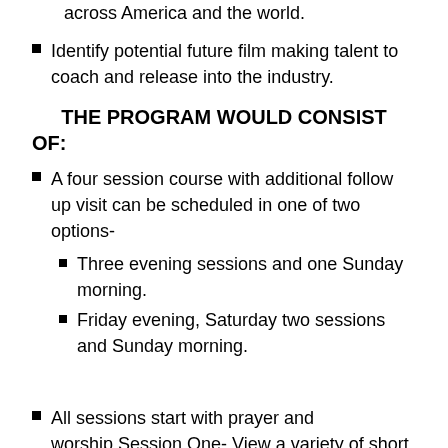across America and the world.
Identify potential future film making talent to coach and release into the industry.
THE PROGRAM WOULD CONSIST OF:
A four session course with additional follow up visit can be scheduled in one of two options-
Three evening sessions and one Sunday morning.
Friday evening, Saturday two sessions and Sunday morning.
All sessions start with prayer and worship.Session One- View a variety of short videos, discuss different options and approaches videos used, discuss local community needs or personal aspirations for a short